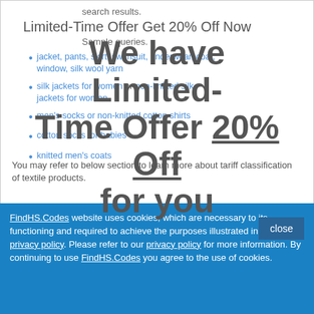search results.
Limited-Time Offer Get 20% Off Now
Sample queries.
jacket, pants, skirt, swimsuit, underwear, coat, window, silk wool yarn
silk jackets for women or non-knitted silk jackets for women
men's socks or non-knitted cotton shirts
cotton socks for babies
knitted men's coats
You may refer to below section to learn more about tariff classification of textile products.
[Figure (screenshot): Promotional overlay reading: We have Limited-Time Offer 20% Off for you]
FindHS.Codes website uses cookies, which are necessary to its functioning and required to achieve the purposes illustrated in the privacy policy. Please refer to our privacy policy for more information. By continuing to use FindHS.Codes you agree to the use of cookies.